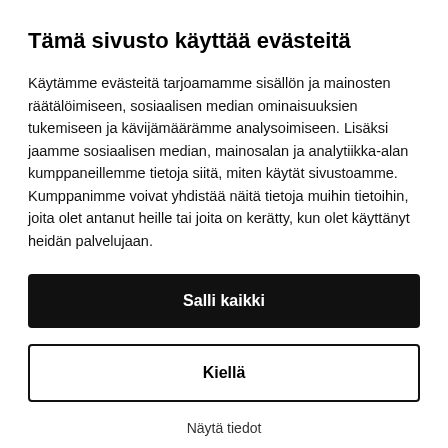Tämä sivusto käyttää evästeitä
Käytämme evästeitä tarjoamamme sisällön ja mainosten räätälöimiseen, sosiaalisen median ominaisuuksien tukemiseen ja kävijämäärämme analysoimiseen. Lisäksi jaamme sosiaalisen median, mainosalan ja analytiikka-alan kumppaneillemme tietoja siitä, miten käytät sivustoamme. Kumppanimme voivat yhdistää näitä tietoja muihin tietoihin, joita olet antanut heille tai joita on kerätty, kun olet käyttänyt heidän palvelujaan.
Salli kaikki
Kiellä
Näytä tiedot